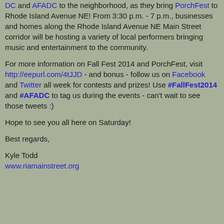DC and AFADC to the neighborhood, as they bring PorchFest to Rhode Island Avenue NE!  From 3:30 p.m. - 7 p.m., businesses and homes along the Rhode Island Avenue NE Main Street corridor will be hosting a variety of local performers bringing music and entertainment to the community.
For more information on Fall Fest 2014 and PorchFest, visit http://eepurl.com/4tJJD - and bonus - follow us on Facebook and Twitter all week for contests and prizes!  Use #FallFest2014 and #AFADC to tag us during the events - can't wait to see those tweets :)
Hope to see you all here on Saturday!
Best regards,
Kyle Todd
www.riamainstreet.org